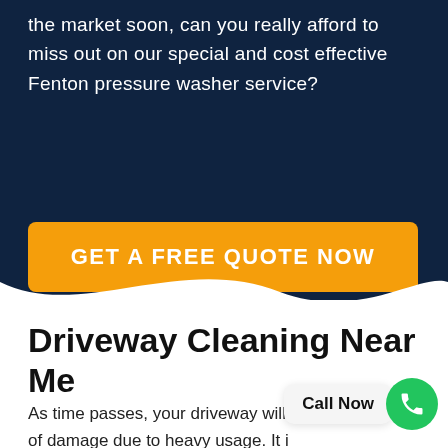the market soon, can you really afford to miss out on our special and cost effective Fenton pressure washer service?
GET A FREE QUOTE NOW
Driveway Cleaning Near Me
As time passes, your driveway will sustain a lot of damage due to heavy usage. It i[...] re have a few vehicles going up and down on your driveway[...]